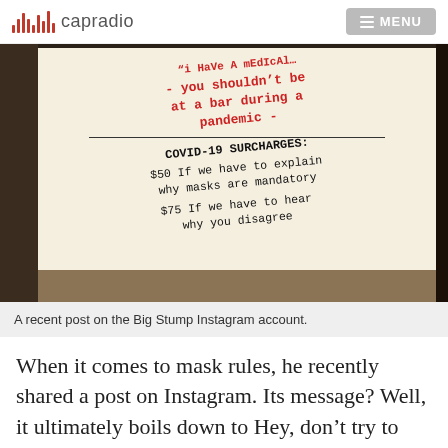capradio  MENU
[Figure (photo): A sign at a bar listing COVID-19 surcharges. Text reads: 'i HaVe A mEdIcAl... - you shouldn't be at a bar during a pandemic - COVID-19 SURCHARGES: $50 If we have to explain why masks are mandatory. $75 If we have to hear why you disagree']
A recent post on the Big Stump Instagram account.
When it comes to mask rules, he recently shared a post on Instagram. Its message? Well, it ultimately boils down to Hey, don't try to test us on this, we're going to stick with California's guidelines for...